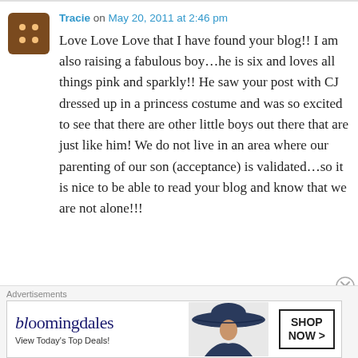Tracie on May 20, 2011 at 2:46 pm
Love Love Love that I have found your blog!! I am also raising a fabulous boy...he is six and loves all things pink and sparkly!! He saw your post with CJ dressed up in a princess costume and was so excited to see that there are other little boys out there that are just like him! We do not live in an area where our parenting of our son (acceptance) is validated...so it is nice to be able to read your blog and know that we are not alone!!!
[Figure (other): Bloomingdales advertisement banner showing logo, tagline 'View Today's Top Deals!', a woman in a wide-brim hat, and a 'SHOP NOW >' button]